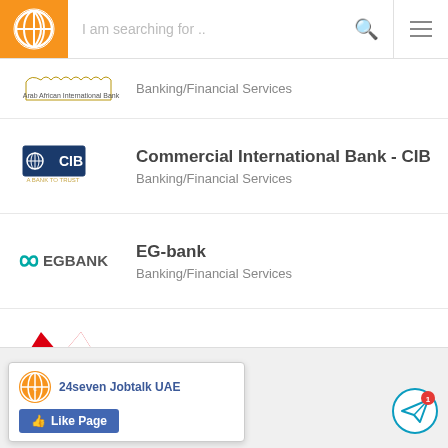[Figure (screenshot): Mobile app navigation bar with orange logo, search field 'I am searching for ..', search icon, and hamburger menu]
[Figure (logo): Arab African International Bank logo (partial, top of list)]
Banking/Financial Services
[Figure (logo): CIB - Commercial International Bank logo: blue CIB text with globe icon, 'A BANK TO TRUST']
Commercial International Bank - CIB
Banking/Financial Services
[Figure (logo): EG BANK logo with teal infinity symbol]
EG-bank
Banking/Financial Services
[Figure (logo): HSBC logo: red hexagon shape and HSBC text]
HSBC
Banking/Financial Services
View all Banks ›
[Figure (screenshot): Facebook page popup: 24seven Jobtalk UAE with Like Page button and orange logo]
[Figure (illustration): Notification bell/send icon with red badge showing '1']